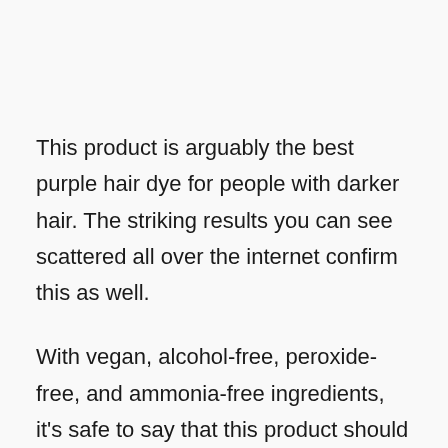This product is arguably the best purple hair dye for people with darker hair. The striking results you can see scattered all over the internet confirm this as well.
With vegan, alcohol-free, peroxide-free, and ammonia-free ingredients, it's safe to say that this product should be suitable for all hair types and won't strip your hair as much as other products.